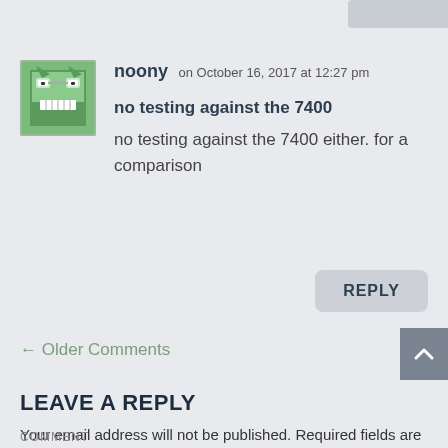noony on October 16, 2017 at 12:27 pm
no testing against the 7400
no testing against the 7400 either. for a comparison
REPLY
← Older Comments
LEAVE A REPLY
Your email address will not be published. Required fields are marked *
COMMENT